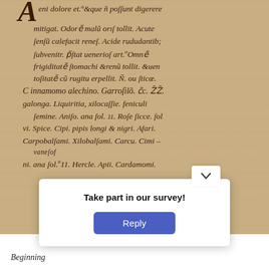[Figure (photo): Photograph of a medieval manuscript page on parchment with dark ink cursive Latin/medieval script text. The text reads: 'eni dolore et. & que ni possunt digerere mitigat. Odorem malum oris tollit. Acute sensum calefacit renes. Acide rududantib subvenit. Prestat venerios art. Omne frigiditatem stomachi & renu tollit. & ven tositatem cum rugitu expellit. N. ou stice. Cinnamomo alechino. Garrofilo. cc. ZZ. galonga. Liquiritia, xilo cassie. feniculi semine. Aniso. ana sol. ii. Rose sicce. sol vi. Spice. Cipi. pipis longi & nigri. Afari. Carpobalfami. Xilobalsami. Carcu. Cimini. ana sol. ii. Hercle. Apii. Cardamomi.' A survey popup overlay appears at the bottom of the image with a white card showing 'Take part in our survey!' and a blue 'Reply' button.]
eni dolore et. & que ni possunt digerere mitigat. Odorem malum oris tollit. Acute sensum calefacit renes. Acide rududantib subvenit. Prestat venerios art. Omne frigiditatem stomachi & renu tollit. & ven tositatem cum rugitu expellit. N. ou stice. Cinnamomo alechino. Garrofilo. cc. ZZ. galonga. Liquiritia, xilo cassie. feniculi semine. Aniso. ana sol. ii. Rose sicce. sol vi. Spice. Cipi. pipis longi & nigri. Afari. Carpobalfami. Xilobalsami. Carcu. Cimini. ana sol. ii. Hercle. Apii. Cardamomi.
Take part in our survey!
Reply
Beginning